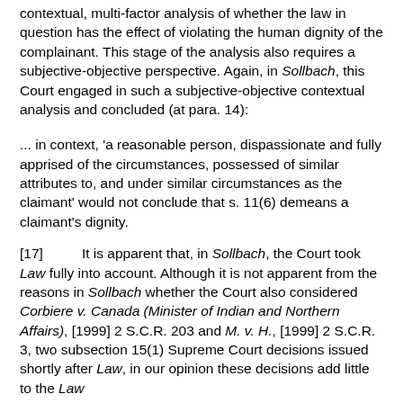contextual, multi-factor analysis of whether the law in question has the effect of violating the human dignity of the complainant. This stage of the analysis also requires a subjective-objective perspective. Again, in Sollbach, this Court engaged in such a subjective-objective contextual analysis and concluded (at para. 14):
... in context, 'a reasonable person, dispassionate and fully apprised of the circumstances, possessed of similar attributes to, and under similar circumstances as the claimant' would not conclude that s. 11(6) demeans a claimant's dignity.
[17]        It is apparent that, in Sollbach, the Court took Law fully into account. Although it is not apparent from the reasons in Sollbach whether the Court also considered Corbiere v. Canada (Minister of Indian and Northern Affairs), [1999] 2 S.C.R. 203 and M. v. H., [1999] 2 S.C.R. 3, two subsection 15(1) Supreme Court decisions issued shortly after Law, in our opinion these decisions add little to the Law